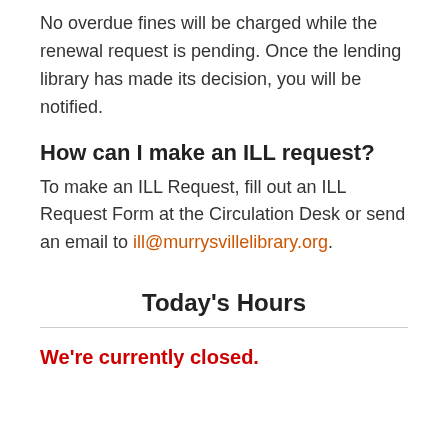No overdue fines will be charged while the renewal request is pending. Once the lending library has made its decision, you will be notified.
How can I make an ILL request?
To make an ILL Request, fill out an ILL Request Form at the Circulation Desk or send an email to ill@murrysvillelibrary.org.
Today's Hours
We're currently closed.